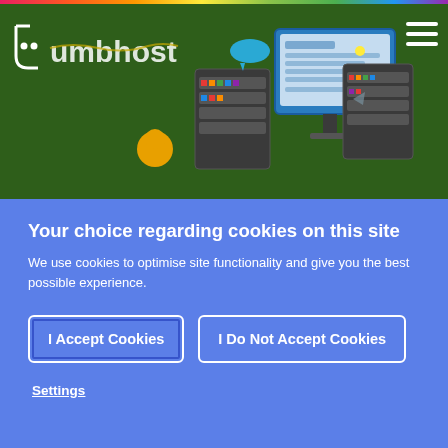[Figure (illustration): Umbhost logo and website hero banner with dark green background showing server and computer equipment illustration]
Your choice regarding cookies on this site
We use cookies to optimise site functionality and give you the best possible experience.
I Accept Cookies
I Do Not Accept Cookies
Settings